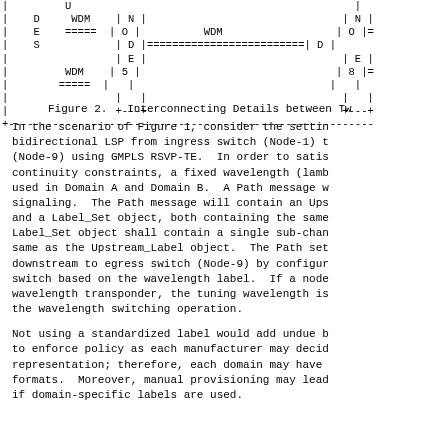[Figure (schematic): Bottom portion of a network diagram showing WDM interconnection details between nodes. Shows nodes with WDM labels connected via dashed lines, with NODE 5, NODE 8 and other nodes visible. Partial view cut off on right side.]
Figure 2.  Interconnecting Details between Tw
In the scenario of Figure 1, consider the settin bidirectional LSP from ingress switch (Node-1) t (Node-9) using GMPLS RSVP-TE.  In order to satis continuity constraints, a fixed wavelength (lamb used in Domain A and Domain B.  A Path message w signaling.  The Path message will contain an Ups and a Label_Set object, both containing the same Label_Set object shall contain a single sub-chan same as the Upstream_Label object.  The Path set downstream to egress switch (Node-9) by configur switch based on the wavelength label.  If a node wavelength transponder, the tuning wavelength is the wavelength switching operation.
Not using a standardized label would add undue b to enforce policy as each manufacturer may decid representation; therefore, each domain may have formats.  Moreover, manual provisioning may lead if domain-specific labels are used.